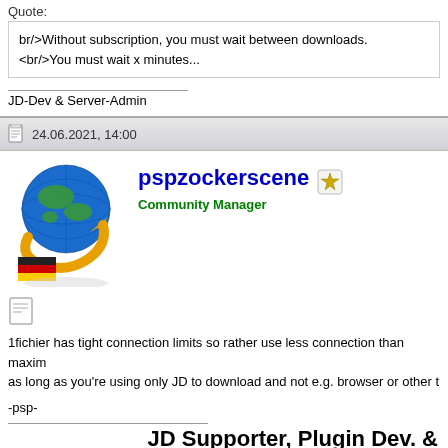Quote:
br/>Without subscription, you must wait between downloads.
<br/>You must wait x minutes...
JD-Dev & Server-Admin
24.06.2021, 14:00
pspzockerscene
Community Manager
1fichier has tight connection limits so rather use less connection than maxim as long as you're using only JD to download and not e.g. browser or other t
-psp-
JD Supporter, Plugin Dev. &
JDownloader 2 Setu
Spoiler: